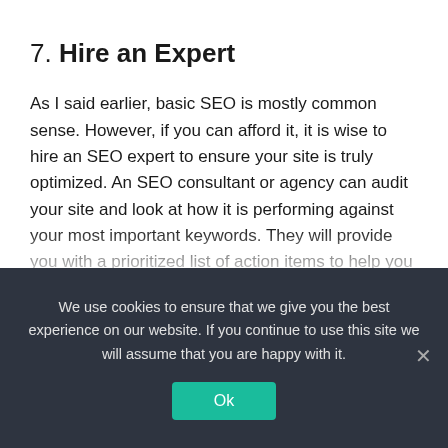7. Hire an Expert
As I said earlier, basic SEO is mostly common sense. However, if you can afford it, it is wise to hire an SEO expert to ensure your site is truly optimized. An SEO consultant or agency can audit your site and look at how it is performing against your most important keywords. They will provide you with a prioritized list of action items to help you take your site to the next level.
Here’s the great news: You don’t have to have to be an SEO wizard to make sure your website is well positioned for organic search engine traffic. Use your common sense
We use cookies to ensure that we give you the best experience on our website. If you continue to use this site we will assume that you are happy with it.